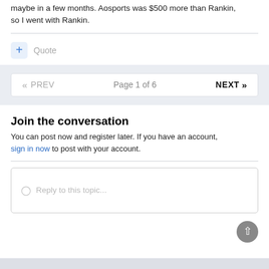maybe in a few months. Aosports was $500 more than Rankin, so I went with Rankin.
Quote
« PREV   Page 1 of 6   NEXT »
Join the conversation
You can post now and register later. If you have an account, sign in now to post with your account.
Reply to this topic...